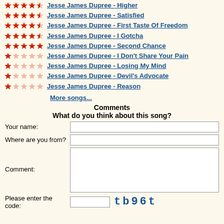Jesse James Dupree - Higher (4.5 stars)
Jesse James Dupree - Satisfied (4.5 stars)
Jesse James Dupree - First Taste Of Freedom (4.5 stars)
Jesse James Dupree - I Gotcha (4.5 stars)
Jesse James Dupree - Second Chance (5 stars)
Jesse James Dupree - I Don't Share Your Pain (1 star)
Jesse James Dupree - Losing My Mind (1 star)
Jesse James Dupree - Devil's Advocate (1 star)
Jesse James Dupree - Reason (1 star)
More songs...
Comments
What do you think about this song?
Your name:
Where are you from?
Comment:
Please enter the code: tb96t